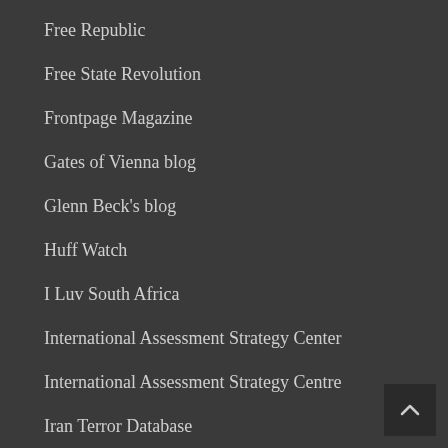Free Republic
Free State Revolution
Frontpage Magazine
Gates of Vienna blog
Glenn Beck's blog
Huff Watch
I Luv South Africa
International Assessment Strategy Center
International Assessment Strategy Centre
Iran Terror Database
Jihad Watch
JB Marxist